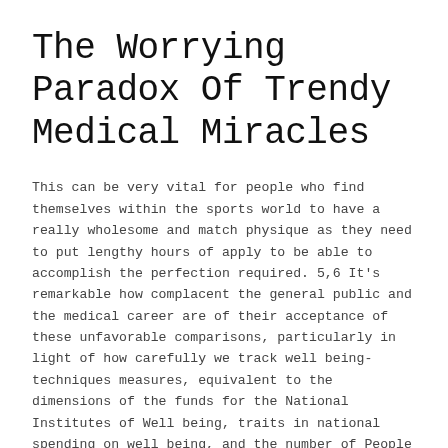The Worrying Paradox Of Trendy Medical Miracles
This can be very vital for people who find themselves within the sports world to have a really wholesome and match physique as they need to put lengthy hours of apply to be able to accomplish the perfection required. 5,6 It's remarkable how complacent the general public and the medical career are of their acceptance of these unfavorable comparisons, particularly in light of how carefully we track well being-techniques measures, equivalent to the dimensions of the funds for the National Institutes of Well being, traits in national spending on well being, and the number of People who lack health insurance.
Studies related to health outcomes across the life span are missing, representing not so much evidence of absent advantages however a relative absence of proof. The system